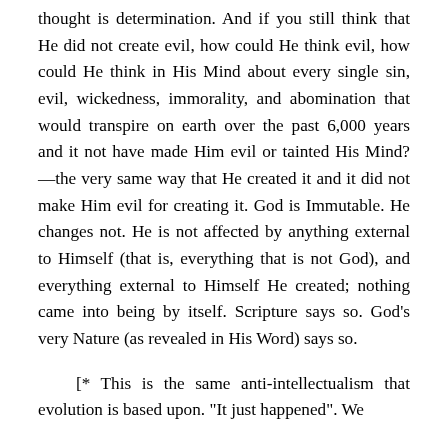thought is determination.  And if you still think that He did not create evil, how could He think evil, how could He think in His Mind about every single sin, evil, wickedness, immorality, and abomination that would transpire on earth over the past 6,000 years and it not have made Him evil or tainted His Mind?—the very same way that He created it and it did not make Him evil for creating it.  God is Immutable.  He changes not.  He is not affected by anything external to Himself (that is, everything that is not God), and everything external to Himself He created; nothing came into being by itself.  Scripture says so.  God's very Nature (as revealed in His Word) says so.
[* This is the same anti-intellectualism that evolution is based upon.  "It just happened".  We